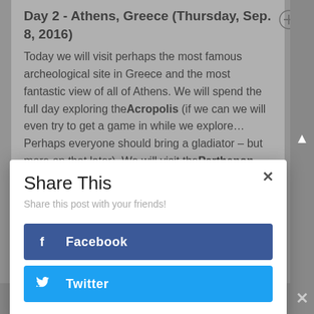Day 2 - Athens, Greece (Thursday, Sep. 8, 2016)
Today we will visit perhaps the most famous archeological site in Greece and the most fantastic view of all of Athens. We will spend the full day exploring the Acropolis (if we can we will even try to get a game in while we explore… Perhaps everyone should bring a gladiator – but more on that later). We will visit the Parthenon,
Share This
Share this post with your friends!
Facebook
Twitter